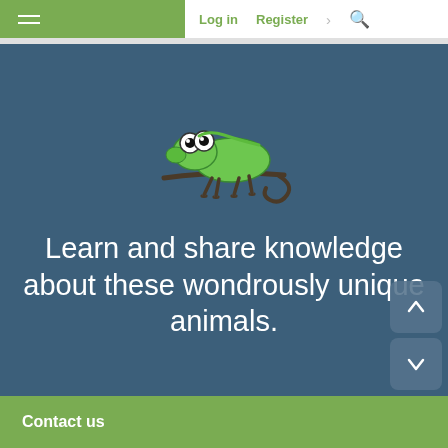Log in  Register
[Figure (illustration): Cartoon green chameleon sitting on a branch, with large round eyes, facing left]
Learn and share knowledge about these wondrously unique animals.
Contact us